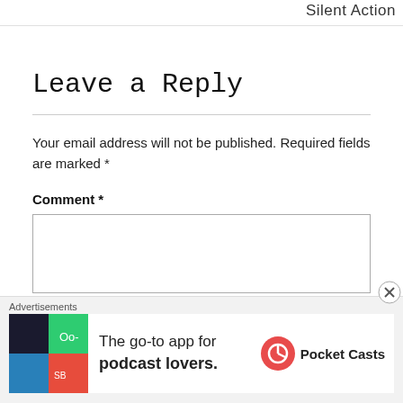Silent Action
Leave a Reply
Your email address will not be published. Required fields are marked *
Comment *
[Figure (screenshot): Empty comment text area input box]
Advertisements
[Figure (photo): Pocket Casts advertisement banner: The go-to app for podcast lovers.]